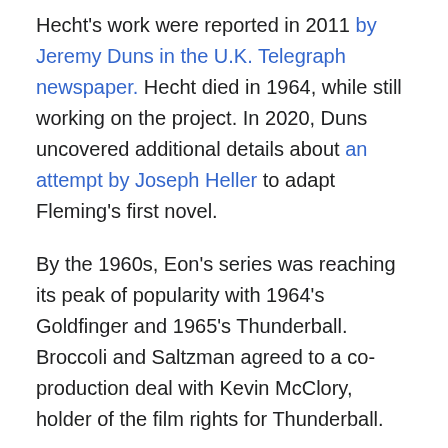Hecht's work were reported in 2011 by Jeremy Duns in the U.K. Telegraph newspaper. Hecht died in 1964, while still working on the project. In 2020, Duns uncovered additional details about an attempt by Joseph Heller to adapt Fleming's first novel.
By the 1960s, Eon's series was reaching its peak of popularity with 1964's Goldfinger and 1965's Thunderball. Broccoli and Saltzman agreed to a co-production deal with Kevin McClory, holder of the film rights for Thunderball.
James Bond, The Legacy, the 2002 book by John Cork and Bruce Scivally, presents a narrative of on-and-off talks between Feldman, Broccoli, Saltzman and United Artists, the studio releasing the Broccoli-Saltzman movies. In the end, talks broke down. (Behind the scenes, Broccoli and Saltzman had their own tensions to deal with, including